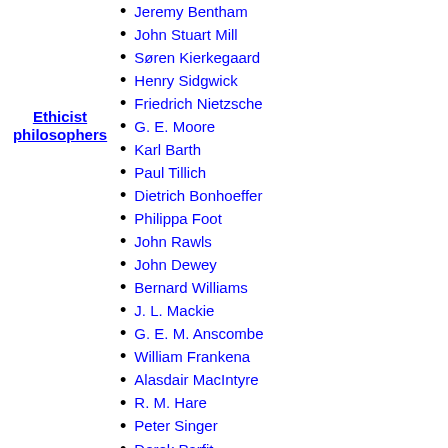Ethicist philosophers
Jeremy Bentham
John Stuart Mill
Søren Kierkegaard
Henry Sidgwick
Friedrich Nietzsche
G. E. Moore
Karl Barth
Paul Tillich
Dietrich Bonhoeffer
Philippa Foot
John Rawls
John Dewey
Bernard Williams
J. L. Mackie
G. E. M. Anscombe
William Frankena
Alasdair MacIntyre
R. M. Hare
Peter Singer
Derek Parfit
Thomas Nagel
Robert Merrihew Adams
Charles Taylor
Joxe Azurmendi
Christine Korsgaard